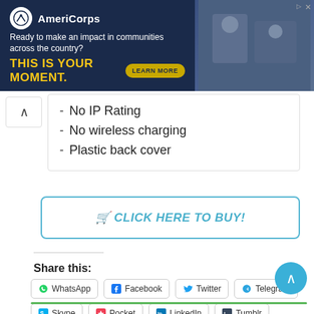[Figure (other): AmeriCorps advertisement banner with dark navy background. Logo with white circle, tagline 'Ready to make an impact in communities across the country?', yellow bold text 'THIS IS YOUR MOMENT.', gold 'LEARN MORE' button, and photo of people on right side.]
No IP Rating
No wireless charging
Plastic back cover
CLICK HERE TO BUY!
Share this:
WhatsApp
Facebook
Twitter
Telegram
Skype
Pocket
LinkedIn
Tumblr
Pinterest
Reddit